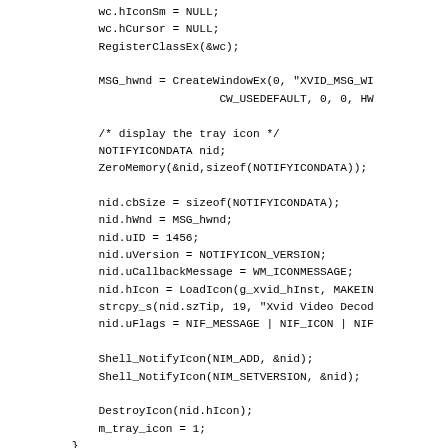wc.hIconSm = NULL;
    wc.hCursor = NULL;
    RegisterClassEx(&wc);

    MSG_hwnd = CreateWindowEx(0, "XVID_MSG_WI
                              CW_USEDEFAULT, 0, 0, HW

    /* display the tray icon */
    NOTIFYICONDATA nid;
    ZeroMemory(&nid,sizeof(NOTIFYICONDATA));

    nid.cbSize = sizeof(NOTIFYICONDATA);
    nid.hWnd = MSG_hwnd;
    nid.uID = 1456;
    nid.uVersion = NOTIFYICON_VERSION;
    nid.uCallbackMessage = WM_ICONMESSAGE;
    nid.hIcon = LoadIcon(g_xvid_hInst, MAKEIN
    strcpy_s(nid.szTip, 19, "Xvid Video Decod
    nid.uFlags = NIF_MESSAGE | NIF_ICON | NIF

    Shell_NotifyIcon(NIM_ADD, &nid);
    Shell_NotifyIcon(NIM_SETVERSION, &nid);

    DestroyIcon(nid.hIcon);
    m_tray_icon = 1;
}

return S_OK;
}